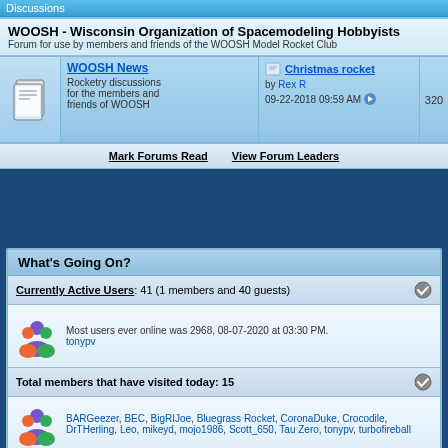Discussions
WOOSH - Wisconsin Organization of Spacemodeling Hobbyists
Forum for use by members and friends of the WOOSH Model Rocket Club
WOOSH News - Rocketry discussions for the members and friends of WOOSH
Christmas rocket by Rex R 09-22-2018 09:59 AM 320
Mark Forums Read   View Forum Leaders
What's Going On?
Currently Active Users: 41 (1 members and 40 guests)
Most users ever online was 2968, 08-07-2020 at 03:30 PM. tonypv
Total members that have visited today: 15
BARGeezer, BEC, BigRIJoe, Bluegrass Rocket, CoronaDuke, Crocodile, DrTHerling, Leo, mikeyd, mojo1986, Scott_650, Tau Zero, tonypv, turbofireball
Total members that have posted today: 1
BigRIJoe
Ye Olde Rocket Forum Statistics